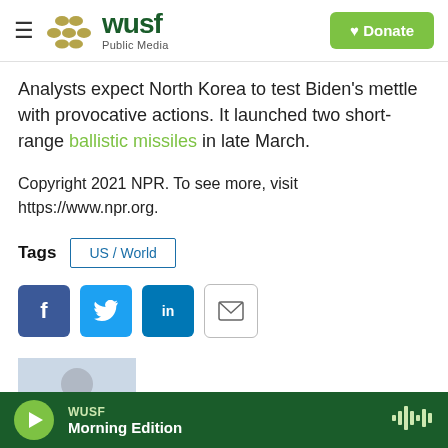[Figure (logo): WUSF Public Media logo with hamburger menu on left and green Donate button on right]
Analysts expect North Korea to test Biden's mettle with provocative actions. It launched two short-range ballistic missiles in late March.
Copyright 2021 NPR. To see more, visit https://www.npr.org.
Tags  US / World
[Figure (infographic): Social sharing icons: Facebook (blue), Twitter (blue), LinkedIn (blue), Email (outlined)]
Jackie Northam
[Figure (infographic): WUSF Morning Edition audio player bar at bottom with green play button]